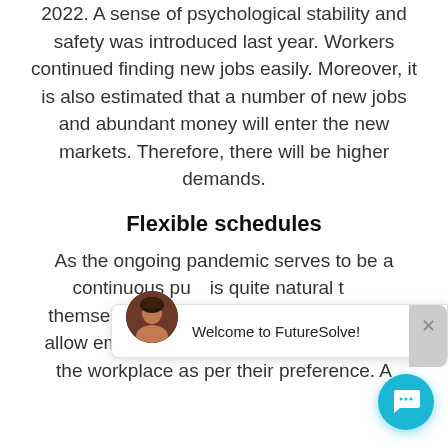2022. A sense of psychological stability and safety was introduced last year. Workers continued finding new jobs easily. Moreover, it is also estimated that a number of new jobs and abundant money will enter the new markets. Therefore, there will be higher demands.
Flexible schedules
As the ongoing pandemic serves to be a continuous pu[ll, it] is quite natural t[hat] themselves w[ith the] organization, you should allow employees to remain at home or visit the workplace as per their preference. A[s a] [number of organizations are]
[Figure (screenshot): Chat widget overlay showing an avatar of a woman, the text 'Welcome to FutureSolve!', a close button (×), a gray side bar, and a floating teal chat button at the bottom right.]